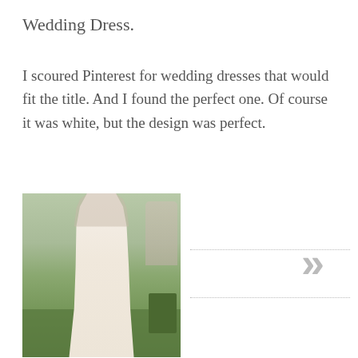Wedding Dress.
I scoured Pinterest for wedding dresses that would fit the title. And I found the perfect one. Of course it was white, but the design was perfect.
[Figure (photo): A woman wearing a short white lace wedding dress with long sleeves, standing on grass in a garden setting with hedges and a statue in the background.]